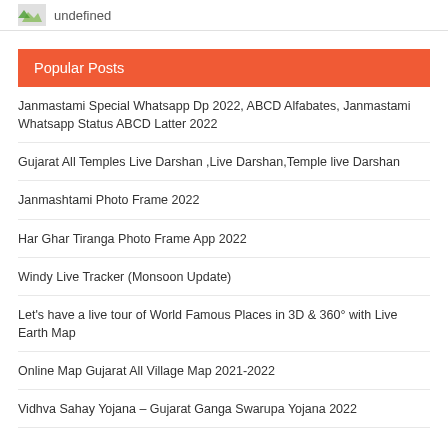undefined
Popular Posts
Janmastami Special Whatsapp Dp 2022, ABCD Alfabates, Janmastami Whatsapp Status ABCD Latter 2022
Gujarat All Temples Live Darshan ,Live Darshan,Temple live Darshan
Janmashtami Photo Frame 2022
Har Ghar Tiranga Photo Frame App 2022
Windy Live Tracker (Monsoon Update)
Let's have a live tour of World Famous Places in 3D & 360° with Live Earth Map
Online Map Gujarat All Village Map 2021-2022
Vidhva Sahay Yojana – Gujarat Ganga Swarupa Yojana 2022